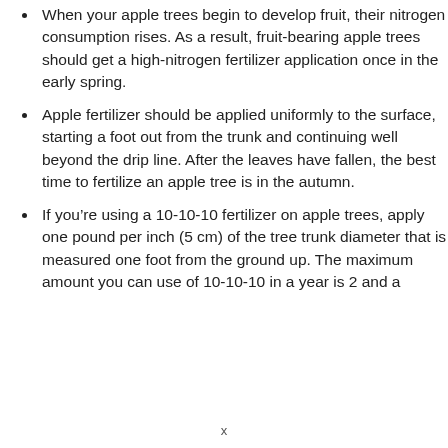When your apple trees begin to develop fruit, their nitrogen consumption rises. As a result, fruit-bearing apple trees should get a high-nitrogen fertilizer application once in the early spring.
Apple fertilizer should be applied uniformly to the surface, starting a foot out from the trunk and continuing well beyond the drip line. After the leaves have fallen, the best time to fertilize an apple tree is in the autumn.
If you’re using a 10-10-10 fertilizer on apple trees, apply one pound per inch (5 cm) of the tree trunk diameter that is measured one foot from the ground up. The maximum amount you can use of 10-10-10 in a year is 2 and a
x